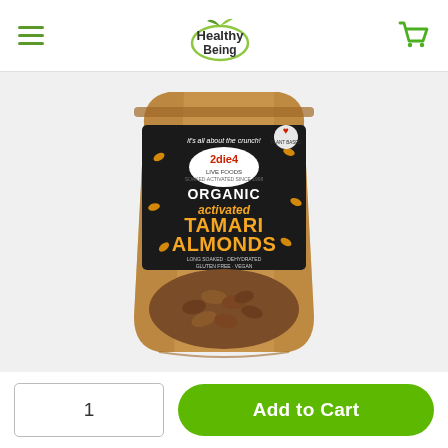Healthy Being — navigation header with hamburger menu and cart icon
[Figure (photo): Product photo of 2die4 Live Foods Organic Activated Tamari Almonds in a kraft paper resealable pouch with a black label showing the brand name and product name, with an oval transparent window showing the almonds inside]
1
Add to Cart